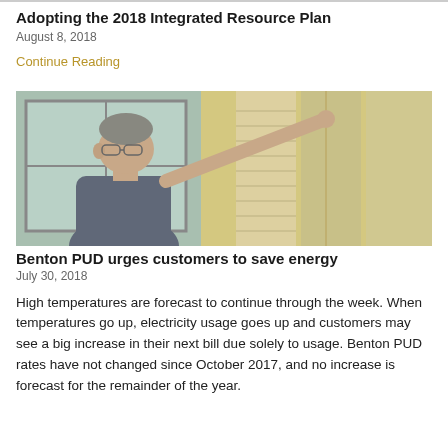Adopting the 2018 Integrated Resource Plan
August 8, 2018
Continue Reading
[Figure (photo): Man adjusting window blinds, looking up and pulling a cord with his right hand. Photo is wide-format, horizontally cropped.]
Benton PUD urges customers to save energy
July 30, 2018
High temperatures are forecast to continue through the week. When temperatures go up, electricity usage goes up and customers may see a big increase in their next bill due solely to usage.  Benton PUD rates have not changed since October 2017, and no increase is forecast for the remainder of the year.